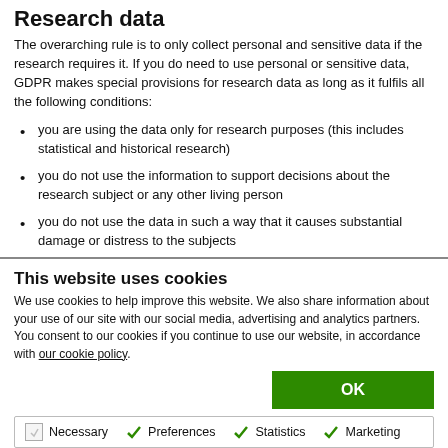Research data
The overarching rule is to only collect personal and sensitive data if the research requires it. If you do need to use personal or sensitive data, GDPR makes special provisions for research data as long as it fulfils all the following conditions:
you are using the data only for research purposes (this includes statistical and historical research)
you do not use the information to support decisions about the research subject or any other living person
you do not use the data in such a way that it causes substantial damage or distress to the subjects
This website uses cookies
We use cookies to help improve this website. We also share information about your use of our site with our social media, advertising and analytics partners. You consent to our cookies if you continue to use our website, in accordance with our cookie policy.
OK
Necessary  Preferences  Statistics  Marketing